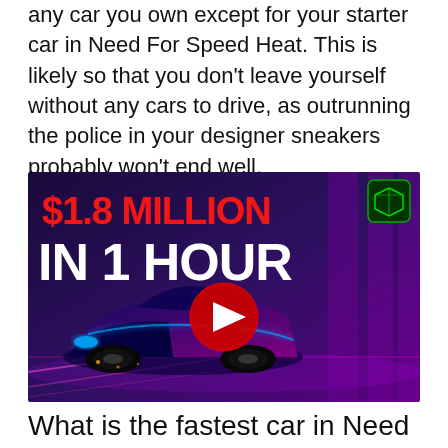any car you own except for your starter car in Need For Speed Heat. This is likely so that you don't leave yourself without any cars to drive, as outrunning the police in your designer sneakers probably won't end well.
[Figure (screenshot): YouTube video thumbnail showing a futuristic sports car on a neon purple background with text '$1.8 MILLION IN 1 HOUR' and a YouTube play button in the center. A green cube logo appears in the top right corner.]
What is the fastest car in Need for Speed 2015?